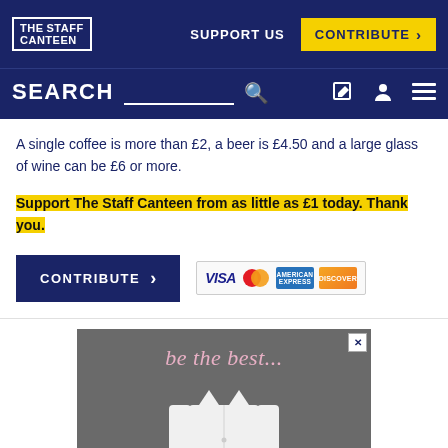THE STAFF CANTEEN | SUPPORT US | CONTRIBUTE
SEARCH
A single coffee is more than £2, a beer is £4.50 and a large glass of wine can be £6 or more.
Support The Staff Canteen from as little as £1 today. Thank you.
[Figure (screenshot): CONTRIBUTE button with payment icons (VISA, Mastercard, American Express, Discover)]
[Figure (photo): Advertisement showing 'be the best...' tagline with a white chef's coat]